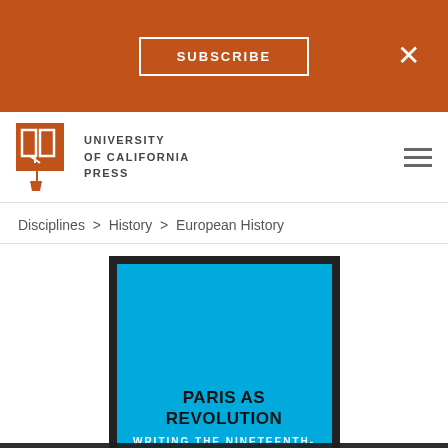SUBSCRIBE × (University of California Press navigation banner with subscribe button and close button)
[Figure (logo): University of California Press logo — open book icon in orange/red square with text UNIVERSITY of CALIFORNIA PRESS]
Disciplines > History > European History
[Figure (illustration): Book cover for 'Paris as Revolution: Writing the Nineteenth-Century City' by Priscilla Parkhurst Ferguson. Cyan/blue background with black border. Title in bold black, subtitle in white uppercase, author name in black uppercase at bottom.]
We use cookies to enhance your experience. By continuing to visit this site you agree to our use of cookies. Learn more